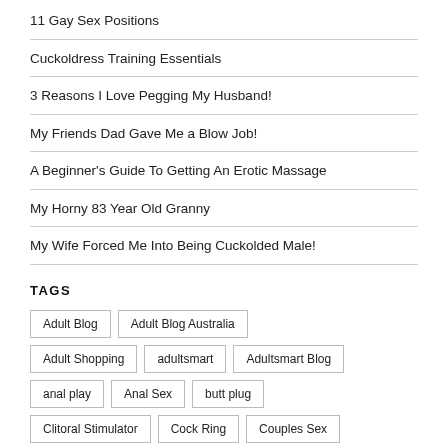11 Gay Sex Positions
Cuckoldress Training Essentials
3 Reasons I Love Pegging My Husband!
My Friends Dad Gave Me a Blow Job!
A Beginner's Guide To Getting An Erotic Massage
My Horny 83 Year Old Granny
My Wife Forced Me Into Being Cuckolded Male!
TAGS
Adult Blog
Adult Blog Australia
Adult Shopping
adultsmart
Adultsmart Blog
anal play
Anal Sex
butt plug
Clitoral Stimulator
Cock Ring
Couples Sex